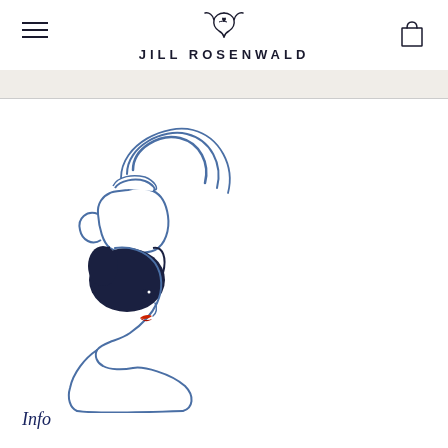JILL ROSENWALD
[Figure (illustration): Illustration of a woman's face and neck in navy blue ink with red lips, balancing a white jug/pitcher on her head with decorative blue curved stripes above it. The woman's hair is dark navy/black. The style is loose, watercolor-like.]
Info